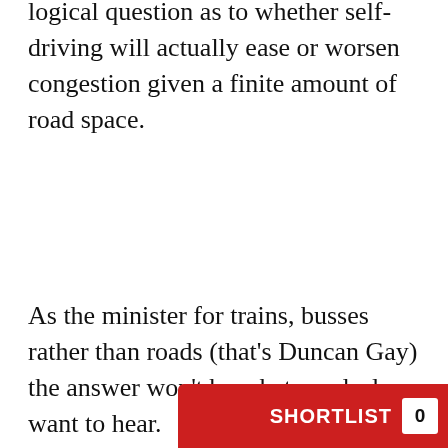logical question as to whether self-driving will actually ease or worsen congestion given a finite amount of road space.
As the minister for trains, busses rather than roads (that's Duncan Gay) the answer won't be what car dealers want to hear.
“This is why I’m building new train networks,” Constance quipped. “I want people in trains not in cars.”
Wozniak also had some firm advice for governments and secu… seeking a back door… technologies that p…